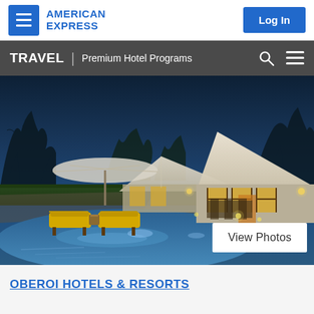AMERICAN EXPRESS | Log In
TRAVEL | Premium Hotel Programs
[Figure (photo): Luxury resort with illuminated tent-style villas, yellow lounge chairs beside a blue swimming pool at dusk, trees in background]
View Photos
OBEROI HOTELS & RESORTS